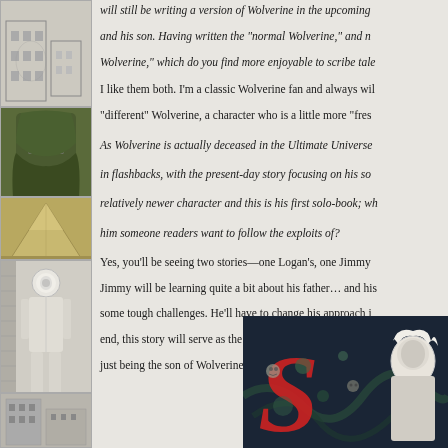[Figure (illustration): Black and white sketch of a building facade]
[Figure (illustration): Comic illustration of Doctor Doom in green cloak]
[Figure (illustration): Illustration of a pyramid in tan/gold colors]
[Figure (illustration): Comic illustration of a white-suited figure]
[Figure (illustration): Sketch of buildings at bottom of left strip]
will still be writing a version of Wolverine in the upcoming and his son. Having written the "normal Wolverine," and n Wolverine," which do you find more enjoyable to scribe tale
I like them both. I'm a classic Wolverine fan and always wil "different" Wolverine, a character who is a little more "fres
As Wolverine is actually deceased in the Ultimate Universe in flashbacks, with the present-day story focusing on his so relatively newer character and this is his first solo-book; wh him someone readers want to follow the exploits of?
Yes, you'll be seeing two stories—one Logan's, one Jimmy Jimmy will be learning quite a bit about his father… and his some tough challenges. He'll have to change his approach i end, this story will serve as the moment when Jimmy really just being the son of Wolverine.
[Figure (illustration): Comic book cover art featuring a large red letter S, a pale white-haired figure, and dark blue/green background with tentacle-like elements and zombie faces]